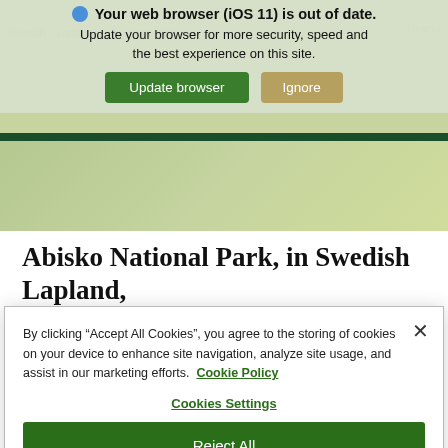[Figure (screenshot): Browser update notification banner with globe icon, warning text 'Your web browser (iOS 11) is out of date. Update your browser for more security, speed and the best experience on this site.' with green 'Update browser' and tan 'Ignore' buttons. Background shows a faint map/navigation website header.]
Abisko National Park, in Swedish Lapland, offers some of the best conditions in the world
By clicking “Accept All Cookies”, you agree to the storing of cookies on your device to enhance site navigation, analyze site usage, and assist in our marketing efforts.  Cookie Policy
Cookies Settings
Reject All
Accept All Cookies (partially visible)